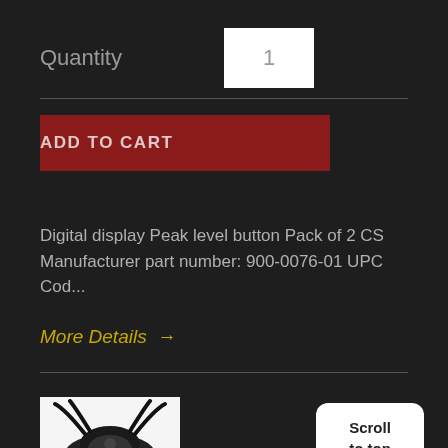Quantity
1
ADD TO CART
Digital display Peak level button Pack of 2 CS Manufacturer part number: 900-0076-01 UPC Cod...
More Details →
[Figure (photo): Product image showing a black beetle-like device on white background]
Scroll
to top